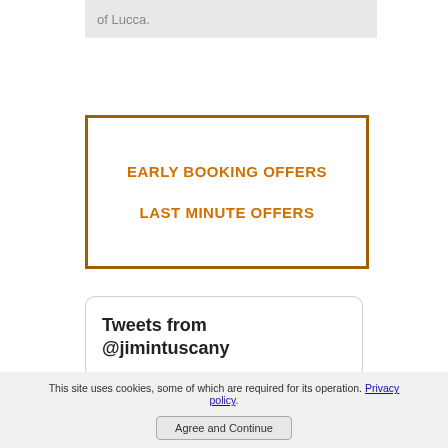of Lucca.
EARLY BOOKING OFFERS
LAST MINUTE OFFERS
Tweets from @jimintuscany
This site uses cookies, some of which are required for its operation. Privacy policy.
Agree and Continue